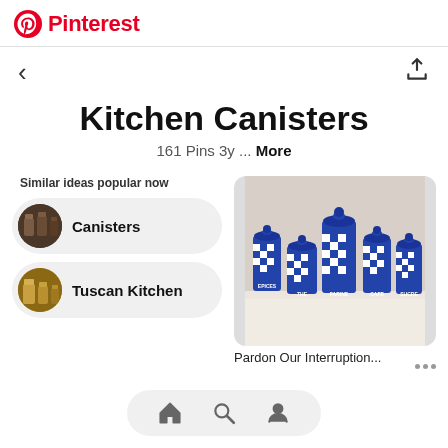Pinterest
Kitchen Canisters
161 Pins 3y ... More
Similar ideas popular now
Canisters
Tuscan Kitchen
[Figure (photo): Five blue and white checkered ceramic kitchen canisters labeled EPICES, THE, FARINE, CAFE, SUCRE]
Pardon Our Interruption...
Home, Search, Profile navigation icons